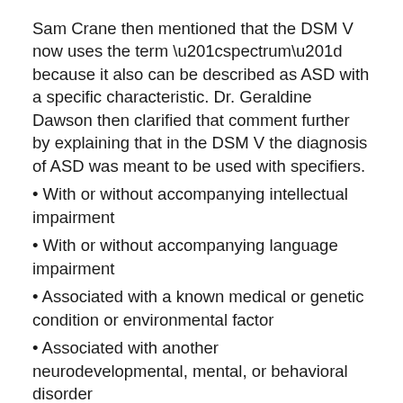Sam Crane then mentioned that the DSM V now uses the term “spectrum” because it also can be described as ASD with a specific characteristic. Dr. Geraldine Dawson then clarified that comment further by explaining that in the DSM V the diagnosis of ASD was meant to be used with specifiers.
With or without accompanying intellectual impairment
With or without accompanying language impairment
Associated with a known medical or genetic condition or environmental factor
Associated with another neurodevelopmental, mental, or behavioral disorder
With catatonia
Even without the above specifiers there is also criteria within ASD that indicate 3 different severity levels based on social communication and restricted behaviors.
I would also like to add that in addition to the above